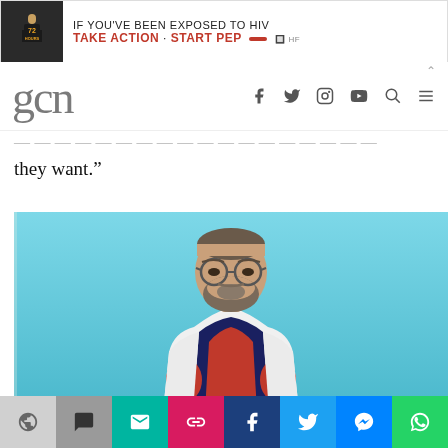[Figure (other): Advertisement banner: HIV PEP awareness ad with text 'IF YOU'VE BEEN EXPOSED TO HIV TAKE ACTION - START PEP' with a small athlete figure on left]
gcn — website navigation header with social media icons (Facebook, Twitter, Instagram, YouTube, Search, Menu)
they want.”
[Figure (photo): Portrait photo of a bearded man with glasses wearing a white shirt open to reveal a superhero-style costume underneath, against a bright blue background]
Share toolbar with icons: arc/browser, comment, email, link, Facebook, Twitter, Messenger, WhatsApp